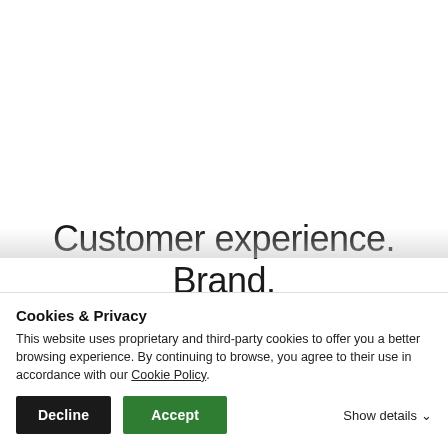Customer experience. Brand.
Rich Messaging enables you to interact with a customer, such as have them confirm an appointment, consider a discount special offer, or...
Cookies & Privacy
This website uses proprietary and third-party cookies to offer you a better browsing experience. By continuing to browse, you agree to their use in accordance with our Cookie Policy.